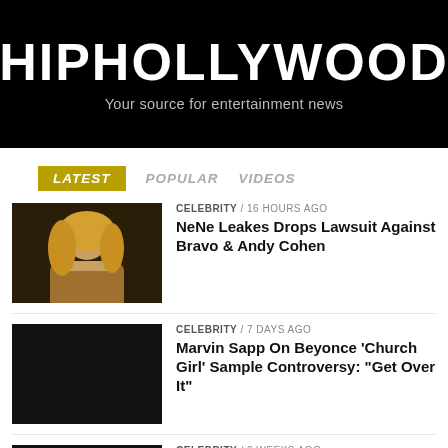[Figure (logo): HipHollywood logo on black background with tagline 'Your source for entertainment news']
LATEST   POPULAR   VIDEOS
CELEBRITY / 16 hours ago
NeNe Leakes Drops Lawsuit Against Bravo & Andy Cohen
[Figure (photo): Photo thumbnail of NeNe Leakes]
CELEBRITY / 7 days ago
Marvin Sapp On Beyonce 'Church Girl' Sample Controversy: "Get Over It"
[Figure (photo): Black thumbnail image]
CELEBRITY / 2 weeks ago
'Send Help' Creators Proud To Showcase Haitian Americans On TV
[Figure (photo): Black thumbnail image]